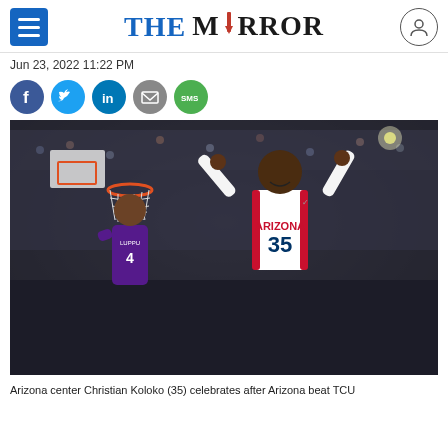THE MIRROR
Jun 23, 2022 11:22 PM
[Figure (other): Social media share icons: Facebook, Twitter, LinkedIn, Email, SMS]
[Figure (photo): Arizona center Christian Koloko (35) celebrates with arms raised after Arizona beat TCU, with a basketball hoop visible in the background and a large crowd in the arena.]
Arizona center Christian Koloko (35) celebrates after Arizona beat TCU